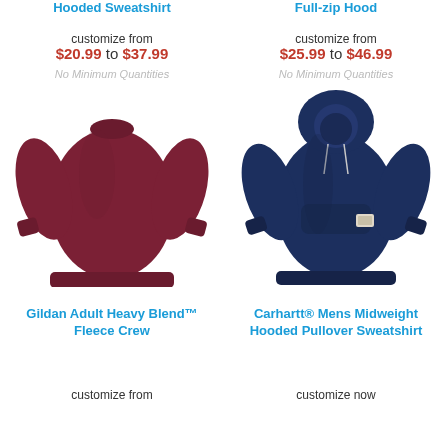Hooded Sweatshirt
Full-zip Hood
customize from
$20.99 to $37.99
No Minimum Quantities
customize from
$25.99 to $46.99
No Minimum Quantities
[Figure (photo): Maroon crewneck sweatshirt product photo]
[Figure (photo): Navy hooded pullover sweatshirt product photo]
Gildan Adult Heavy Blend™ Fleece Crew
Carhartt® Mens Midweight Hooded Pullover Sweatshirt
customize from
customize now